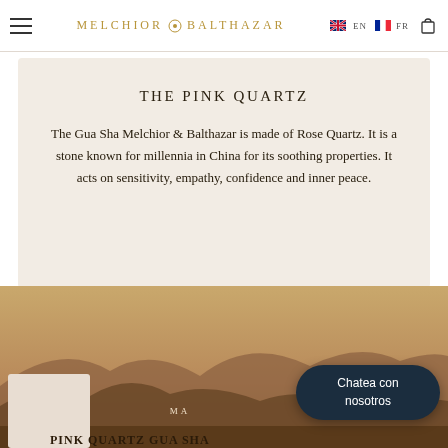MELCHIOR & BALTHAZAR — EN / FR navigation header
THE PINK QUARTZ
The Gua Sha Melchior & Balthazar is made of Rose Quartz. It is a stone known for millennia in China for its soothing properties. It acts on sensitivity, empathy, confidence and inner peace.
[Figure (illustration): Desert landscape with mountain silhouettes in warm brown and tan tones, with a product card showing 'PINK QUARTZ GUA SHA' text and a chat widget overlay saying 'Chatea con nosotros']